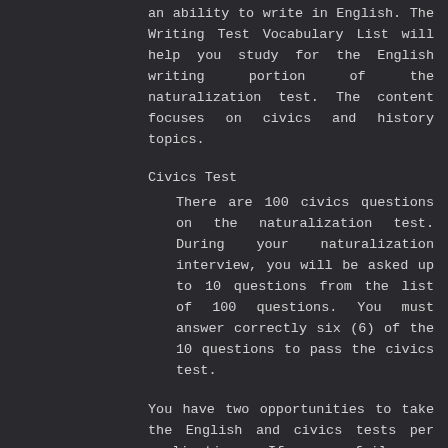an ability to write in English. The Writing Test Vocabulary List will help you study for the English writing portion of the naturalization test. The content focuses on civics and history topics.
Civics Test
There are 100 civics questions on the naturalization test. During your naturalization interview, you will be asked up to 10 questions from the list of 100 questions. You must answer correctly six (6) of the 10 questions to pass the civics test.
You have two opportunities to take the English and civics tests per application. If you fail any portion of the test during your first interview, you will be retested on the portion of the test that you failed between 60 and 90 days from the date of your initial interview.